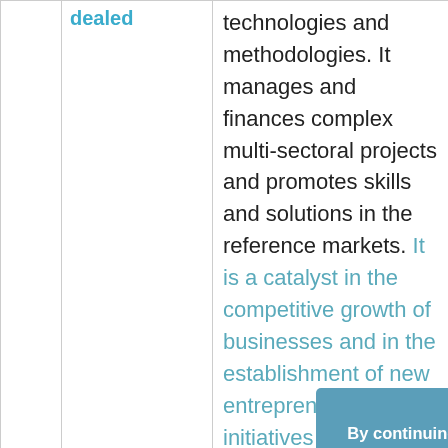|  | dealed |  |
| --- | --- | --- |
|  |  | technologies and methodologies. It manages and finances complex multi-sectoral projects and promotes skills and solutions in the reference markets. It is a catalyst in the competitive growth of businesses and in the establishment of new entrepreneurial initiatives deriving from research and innovation activities carried out both in a private and academic context. It develops innovation projects aimed at |
By continuing to use the site, you agree to the use of cookies. | I cookie ci aiutano a migliorare i nostri servizi. Utilizzando tali servizi, accetti l'utilizzo dei cookie. more information Accept | Accetta